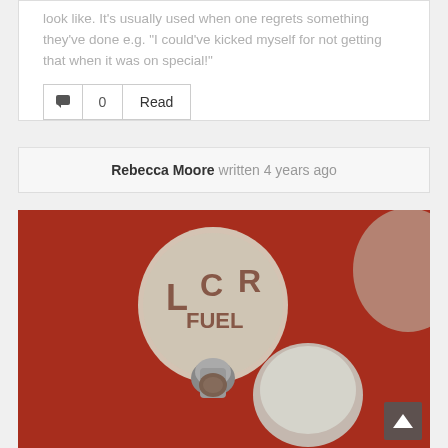look like. It's usually used when one regrets something they've done e.g. "I could've kicked myself for not getting that when it was on special!"
0  Read
Rebecca Moore written 4 years ago
[Figure (photo): Close-up photo of a red fuel cap/valve with a worn white label reading 'LCR FUEL' and a white knob/handle.]